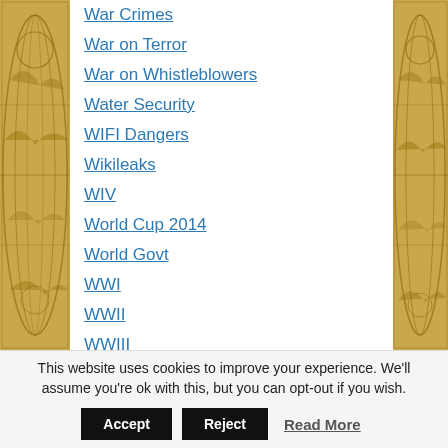War Crimes
War on Terror
War on Whistleblowers
Water Security
WIFI Dangers
Wikileaks
WIV
World Cup 2014
World Govt
WWI
WWII
WWIII
This website uses cookies to improve your experience. We'll assume you're ok with this, but you can opt-out if you wish.